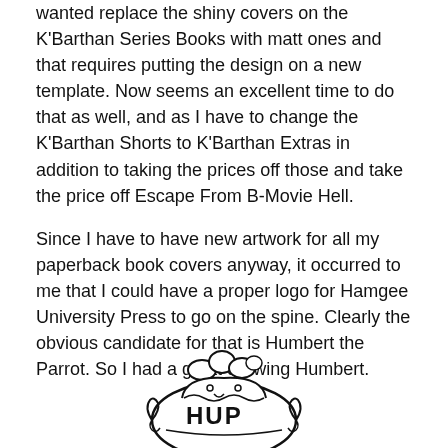wanted replace the shiny covers on the K'Barthan Series Books with matt ones and that requires putting the design on a new template. Now seems an excellent time to do that as well, and as I have to change the K'Barthan Shorts to K'Barthan Extras in addition to taking the prices off those and take the price off Escape From B-Movie Hell.
Since I have to have new artwork for all my paperback book covers anyway, it occurred to me that I could have a proper logo for Hamgee University Press to go on the spine. Clearly the obvious candidate for that is Humbert the Parrot. So I had a go at drawing Humbert.
[Figure (illustration): A line drawing of a parrot (Humbert the Parrot) logo for Hamgee University Press. The parrot is depicted on a circular emblem with the letters H, U, P visible. The bird has fluffy feathers on top and decorative scroll-work around the circular badge.]